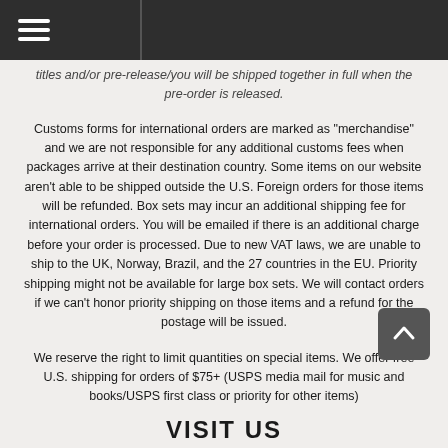titles and/or pre-release/you will be shipped together in full when the pre-order is released.
Customs forms for international orders are marked as "merchandise" and we are not responsible for any additional customs fees when packages arrive at their destination country. Some items on our website aren't able to be shipped outside the U.S. Foreign orders for those items will be refunded. Box sets may incur an additional shipping fee for international orders. You will be emailed if there is an additional charge before your order is processed. Due to new VAT laws, we are unable to ship to the UK, Norway, Brazil, and the 27 countries in the EU. Priority shipping might not be available for large box sets. We will contact orders if we can't honor priority shipping on those items and a refund for the postage will be issued.
We reserve the right to limit quantities on special items. We offer free U.S. shipping for orders of $75+ (USPS media mail for music and books/USPS first class or priority for other items)
VISIT US